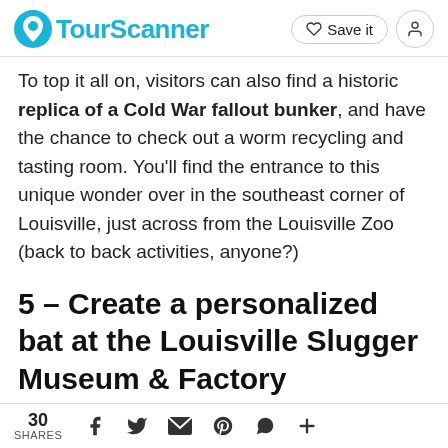TourScanner — Save it
To top it all on, visitors can also find a historic replica of a Cold War fallout bunker, and have the chance to check out a worm recycling and tasting room. You'll find the entrance to this unique wonder over in the southeast corner of Louisville, just across from the Louisville Zoo (back to back activities, anyone?)
5 – Create a personalized bat at the Louisville Slugger Museum & Factory
30 SHARES